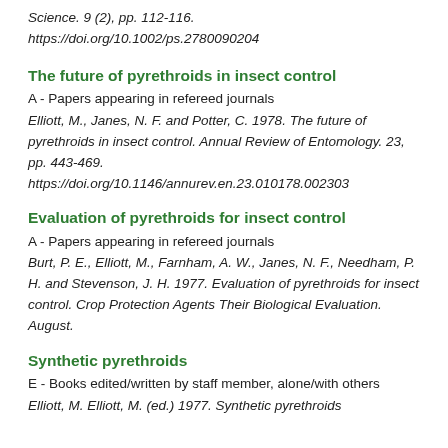Science. 9 (2), pp. 112-116.
https://doi.org/10.1002/ps.2780090204
The future of pyrethroids in insect control
A - Papers appearing in refereed journals
Elliott, M., Janes, N. F. and Potter, C. 1978. The future of pyrethroids in insect control. Annual Review of Entomology. 23, pp. 443-469. https://doi.org/10.1146/annurev.en.23.010178.002303
Evaluation of pyrethroids for insect control
A - Papers appearing in refereed journals
Burt, P. E., Elliott, M., Farnham, A. W., Janes, N. F., Needham, P. H. and Stevenson, J. H. 1977. Evaluation of pyrethroids for insect control. Crop Protection Agents Their Biological Evaluation. August.
Synthetic pyrethroids
E - Books edited/written by staff member, alone/with others
Elliott, M. Elliott, M. (ed.) 1977. Synthetic pyrethroids